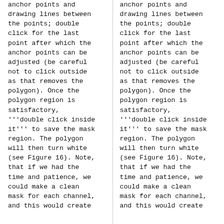anchor points and drawing lines between the points; double click for the last point after which the anchor points can be adjusted (be careful not to click outside as that removes the polygon). Once the polygon region is satisfactory, '''double click inside it''' to save the mask region. The polygon will then turn white (see Figure 16). Note, that if we had the time and patience, we could make a clean mask for each channel, and this would create
anchor points and drawing lines between the points; double click for the last point after which the anchor points can be adjusted (be careful not to click outside as that removes the polygon). Once the polygon region is satisfactory, '''double click inside it''' to save the mask region. The polygon will then turn white (see Figure 16). Note, that if we had the time and patience, we could make a clean mask for each channel, and this would create